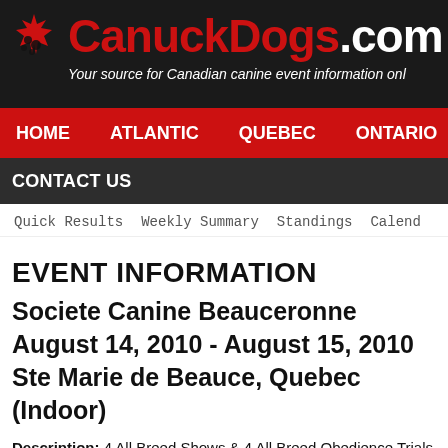[Figure (logo): CanuckDogs.com website header banner with maple leaf/paw print logo icon, red site name 'CanuckDogs' with '.com' in white, dark wood-grain background, and italic tagline 'Your source for Canadian canine event information onl']
HOME   ATLANTIC   QUEBEC   ONTARIO
CONTACT US
Quick Results   Weekly Summary   Standings   Calend
EVENT INFORMATION
Societe Canine Beauceronne
August 14, 2010 - August 15, 2010
Ste Marie de Beauce, Quebec (Indoor)
Description: 4 All Breed Shows & 4 All Breed Obedience Trials